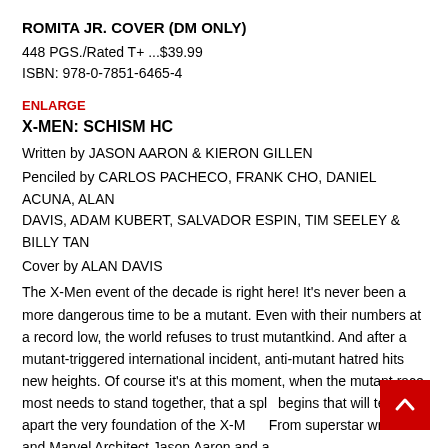ROMITA JR. COVER (DM ONLY)
448 PGS./Rated T+ ...$39.99
ISBN: 978-0-7851-6465-4
ENLARGE
X-MEN: SCHISM HC
Written by JASON AARON & KIERON GILLEN
Penciled by CARLOS PACHECO, FRANK CHO, DANIEL ACUNA, ALAN DAVIS, ADAM KUBERT, SALVADOR ESPIN, TIM SEELEY & BILLY TAN
Cover by ALAN DAVIS
The X-Men event of the decade is right here! It's never been a more dangerous time to be a mutant. Even with their numbers at a record low, the world refuses to trust mutantkind. And after a mutant-triggered international incident, anti-mutant hatred hits new heights. Of course it's at this moment, when the mutant race most needs to stand together, that a split begins that will tear apart the very foundation of the X-M... From superstar writer and Marvel Architect Jason Aaron and a